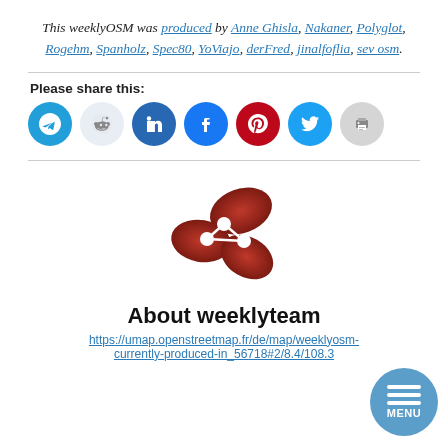This weeklyOSM was produced by Anne Ghisla, Nakaner, Polyglot, Rogehm, Spanholz, Spec80, YoViajo, derFred, jinalfoflia, sev osm.
Please share this:
[Figure (illustration): Row of social media share buttons: Telegram, Reddit, LinkedIn, Facebook, Pinterest, Twitter, Print]
[Figure (logo): WeeklyOSM logo — red/dark-red interlocking circular shapes with white connector dots forming a network/share icon]
About weeklyteam
https://umap.openstreetmap.fr/de/map/weeklyosm-currently-produced-in_56718#2/8.4/108.3